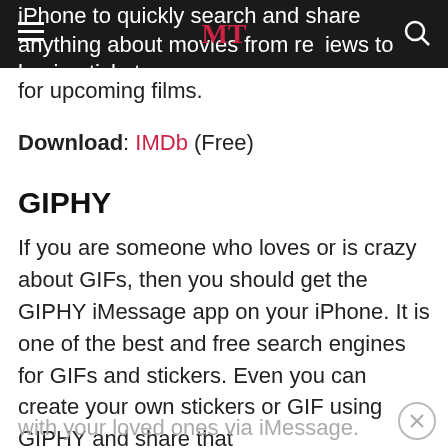iPhone to quickly search and share anything about movies from reviews to buying tickets for upcoming films.
Download: IMDb (Free)
GIPHY
If you are someone who loves or is crazy about GIFs, then you should get the GIPHY iMessage app on your iPhone. It is one of the best and free search engines for GIFs and stickers. Even you can create your own stickers or GIF using GIPHY and share that with your loved ones via iMessage.